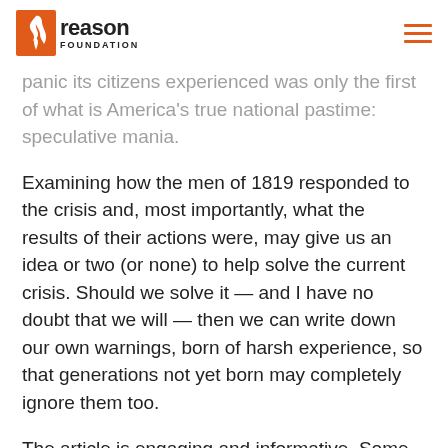Reason Foundation
panic its citizens experienced was only the first of what is America's true national pastime: speculative mania.
Examining how the men of 1819 responded to the crisis and, most importantly, what the results of their actions were, may give us an idea or two (or none) to help solve the current crisis. Should we solve it — and I have no doubt that we will — then we can write down our own warnings, born of harsh experience, so that generations not yet born may completely ignore them too.
The article is engaging and informative. Some of the details differ (e.g., money was printed by state